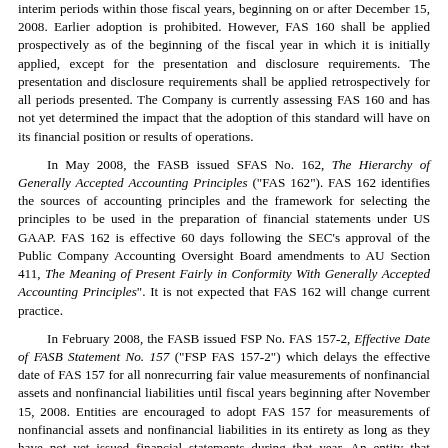interim periods within those fiscal years, beginning on or after December 15, 2008. Earlier adoption is prohibited. However, FAS 160 shall be applied prospectively as of the beginning of the fiscal year in which it is initially applied, except for the presentation and disclosure requirements. The presentation and disclosure requirements shall be applied retrospectively for all periods presented. The Company is currently assessing FAS 160 and has not yet determined the impact that the adoption of this standard will have on its financial position or results of operations.
In May 2008, the FASB issued SFAS No. 162, The Hierarchy of Generally Accepted Accounting Principles ("FAS 162"). FAS 162 identifies the sources of accounting principles and the framework for selecting the principles to be used in the preparation of financial statements under US GAAP. FAS 162 is effective 60 days following the SEC's approval of the Public Company Accounting Oversight Board amendments to AU Section 411, The Meaning of Present Fairly in Conformity With Generally Accepted Accounting Principles". It is not expected that FAS 162 will change current practice.
In February 2008, the FASB issued FSP No. FAS 157-2, Effective Date of FASB Statement No. 157 ("FSP FAS 157-2") which delays the effective date of FAS 157 for all nonrecurring fair value measurements of nonfinancial assets and nonfinancial liabilities until fiscal years beginning after November 15, 2008. Entities are encouraged to adopt FAS 157 for measurements of nonfinancial assets and nonfinancial liabilities in its entirety as long as they have not yet issued financial statements during that year. An entity that chooses to adopt FAS 157 in its entirety must do so for all nonfinancial assets and nonfinancial liabilities within its scope. The Company is currently reviewing the impact of the adoption of FAS No. 157 for all non-financial assets and liabilities on its financial statements.